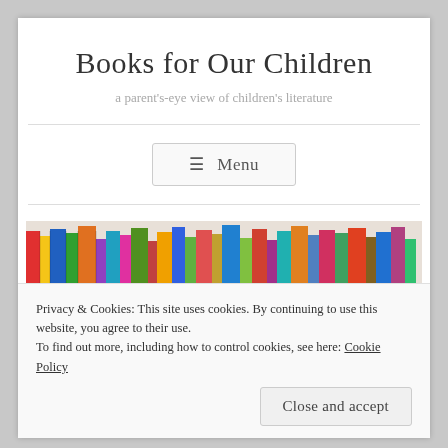Books for Our Children
a parent's-eye view of children's literature
≡ Menu
[Figure (photo): A photograph of a colorful bookshelf filled with children's books standing upright on wooden shelves.]
Privacy & Cookies: This site uses cookies. By continuing to use this website, you agree to their use.
To find out more, including how to control cookies, see here: Cookie Policy
Close and accept